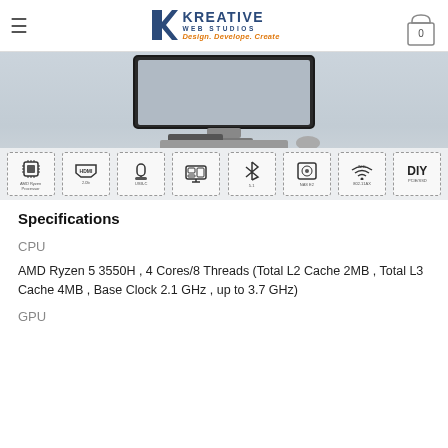Kreative Web Studios — Design. Develope. Create
[Figure (photo): Product photo of a desktop computer setup with monitor, keyboard, mouse and hub device on a light blue/grey surface, with feature icons strip at the bottom showing CPU, HDMI, USB-C, Display, Bluetooth, NAS, Wi-Fi, and DIY features]
Specifications
CPU
AMD Ryzen 5 3550H , 4 Cores/8 Threads (Total L2 Cache 2MB , Total L3 Cache 4MB , Base Clock 2.1 GHz , up to 3.7 GHz)
GPU